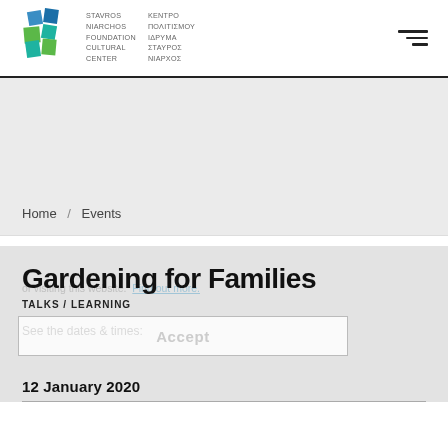[Figure (logo): Stavros Niarchos Foundation Cultural Center logo — geometric pinwheel in blue, green, teal with text 'STAVROS NIARCHOS FOUNDATION CULTURAL CENTER' and Greek text 'ΚΕΝΤΡΟ ΠΟΛΙΤΙΣΜΟΥ ΙΔΡΥΜΑ ΣΤΑΥΡΟΣ ΝΙΑΡΧΟΣ']
Home / Events
Gardening for Families
TALKS / LEARNING
See the dates & times:
Accept
12 January 2020